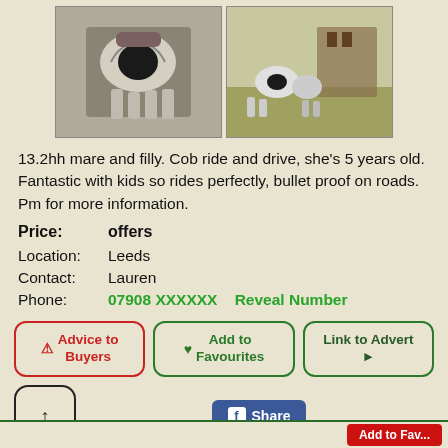[Figure (photo): Two photos side by side: left shows a black and white cob horse being led on a path, right shows horses or animals near a wooden structure outdoors]
13.2hh mare and filly. Cob ride and drive, she's 5 years old. Fantastic with kids so rides perfectly, bullet proof on roads. Pm for more information.
Price: offers
Location: Leeds
Contact: Lauren
Phone: 07908 XXXXXX  Reveal Number
[Figure (screenshot): Advice to Buyers button (red border), Add to Favourites button (green border), Link to Advert button (green border), scroll up button, Facebook Share button]